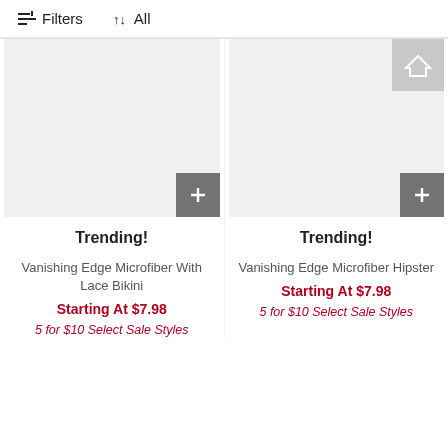Filters  All
[Figure (photo): Product image placeholder area for Vanishing Edge Microfiber With Lace Bikini, with gray + button overlay]
Trending!
Vanishing Edge Microfiber With Lace Bikini
Starting At $7.98
5 for $10 Select Sale Styles
[Figure (photo): Product image placeholder area for Vanishing Edge Microfiber Hipster, with gray + button overlay]
Trending!
Vanishing Edge Microfiber Hipster
Starting At $7.98
5 for $10 Select Sale Styles